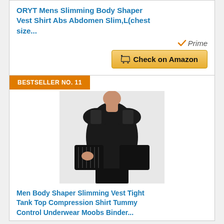ORYT Mens Slimming Body Shaper Vest Shirt Abs Abdomen Slim,L(chest size...
[Figure (other): Amazon Prime badge with checkmark]
[Figure (other): Check on Amazon button with cart icon]
BESTSELLER NO. 11
[Figure (photo): Man wearing a black slimming body shaper vest/tank top compression shirt, holding the side panels open to show the construction]
Men Body Shaper Slimming Vest Tight Tank Top Compression Shirt Tummy Control Underwear Moobs Binder...